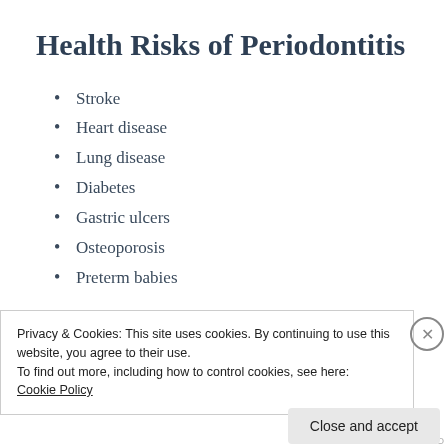Health Risks of Periodontitis
Stroke
Heart disease
Lung disease
Diabetes
Gastric ulcers
Osteoporosis
Preterm babies
Common Risk Factors of
Privacy & Cookies: This site uses cookies. By continuing to use this website, you agree to their use.
To find out more, including how to control cookies, see here:
Cookie Policy
Close and accept